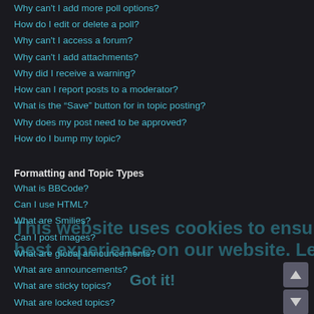Why can't I add more poll options?
How do I edit or delete a poll?
Why can't I access a forum?
Why can't I add attachments?
Why did I receive a warning?
How can I report posts to a moderator?
What is the “Save” button for in topic posting?
Why does my post need to be approved?
How do I bump my topic?
Formatting and Topic Types
What is BBCode?
Can I use HTML?
What are Smilies?
Can I post images?
What are global announcements?
What are announcements?
What are sticky topics?
What are locked topics?
What are topic icons?
User Levels and Groups
What are Administrators?
What are Moderators?
What are usergroups?
Where are the usergroups and how do I join one?
How do I become a usergroup leader?
Why do some usergroups appear in a different colour?
What is a “Default usergroup”?